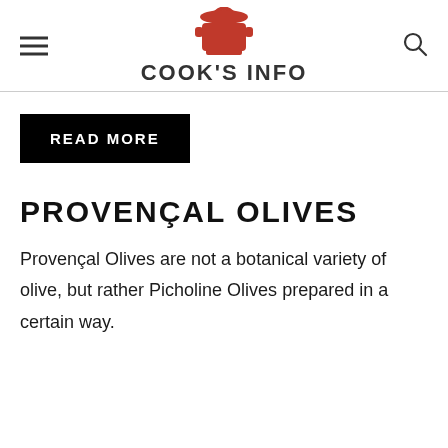COOK'S INFO
READ MORE
PROVENÇAL OLIVES
Provençal Olives are not a botanical variety of olive, but rather Picholine Olives prepared in a certain way.